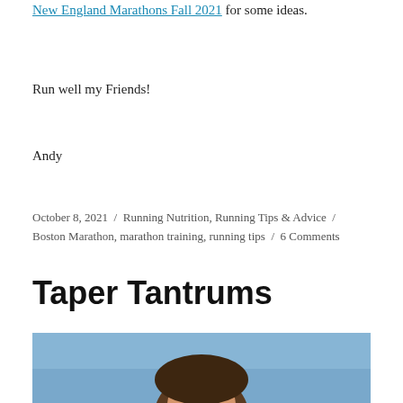New England Marathons Fall 2021 for some ideas.
Run well my Friends!
Andy
October 8, 2021 / Running Nutrition, Running Tips & Advice / Boston Marathon, marathon training, running tips / 6 Comments
Taper Tantrums
[Figure (photo): Photo of a person's head against a blue sky background]